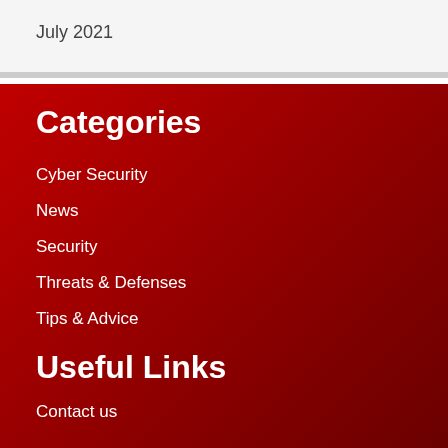July 2021
Categories
Cyber Security
News
Security
Threats & Defenses
Tips & Advice
Useful Links
Contact us